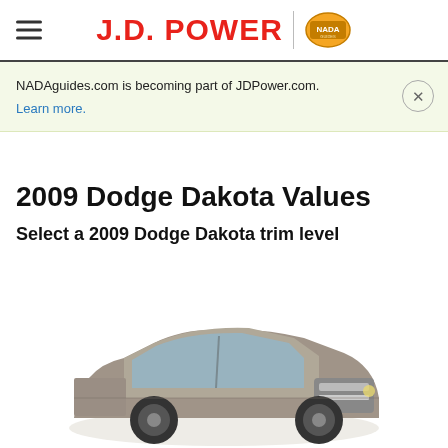J.D. POWER | NADA
NADAguides.com is becoming part of JDPower.com. Learn more.
2009 Dodge Dakota Values
Select a 2009 Dodge Dakota trim level
[Figure (photo): Partial front view of a 2009 Dodge Dakota truck in a tan/silver color, shown from the front-left angle at the bottom of the page.]